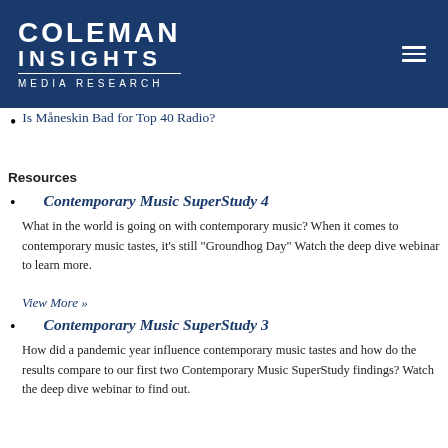COLEMAN INSIGHTS Media Research
Is Måneskin Bad for Top 40 Radio?
Resources
Contemporary Music SuperStudy 4
What in the world is going on with contemporary music? When it comes to contemporary music tastes, it's still "Groundhog Day" Watch the deep dive webinar to learn more.
View More »
Contemporary Music SuperStudy 3
How did a pandemic year influence contemporary music tastes and how do the results compare to our first two Contemporary Music SuperStudy findings? Watch the deep dive webinar to find out.